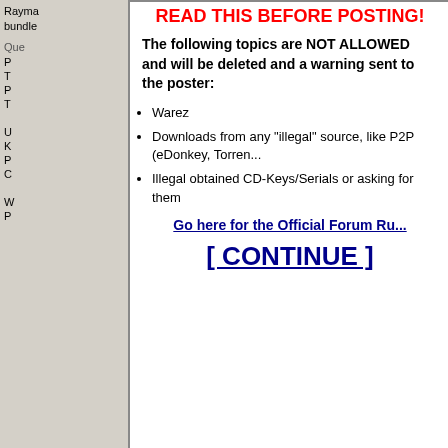Rayma... bundle...
Que...
P
T
P
T
U
K
P
C
W
P
READ THIS BEFORE POSTING!
The following topics are NOT ALLOWED and will be... the poster:
Warez
Downloads from any "illegal" source, like P2P (eDonkey, Torren...
Illegal obtained CD-Keys/Serials or asking for them
Go here for the Official Forum Ru...
[ CONTINUE ]
Nonpaged Pool : 12 KB
Pagefile : 462572 KB
Page Fault Count : 147577

IO Read : 2046448 KB (in 31978 reads )
IO Write : 3038303 KB (in 47474 writes)
IO Other : 6 KB (in 297 others)
PS. tested on my 2nd pc (fx-4100, 2 cores, 4 threads).